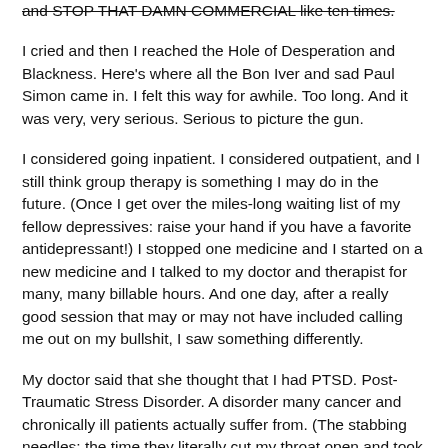and STOP THAT DAMN COMMERCIAL like ten times.
I cried and then I reached the Hole of Desperation and Blackness. Here's where all the Bon Iver and sad Paul Simon came in. I felt this way for awhile. Too long. And it was very, very serious. Serious to picture the gun.
I considered going inpatient. I considered outpatient, and I still think group therapy is something I may do in the future. (Once I get over the miles-long waiting list of my fellow depressives: raise your hand if you have a favorite antidepressant!) I stopped one medicine and I started on a new medicine and I talked to my doctor and therapist for many, many billable hours. And one day, after a really good session that may or may not have included calling me out on my bullshit, I saw something differently.
My doctor said that she thought that I had PTSD. Post-Traumatic Stress Disorder. A disorder many cancer and chronically ill patients actually suffer from. (The stabbing needles; the time they literally cut my throat open and took my thyroid out while I had nightmares on the table...)